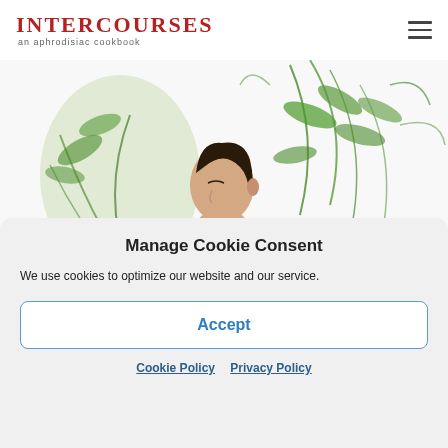InterCourses an aphrodisiac cookbook
[Figure (photo): A person in profile view with green fern plants behind them against a white background]
Manage Cookie Consent
We use cookies to optimize our website and our service.
Accept
Cookie Policy  Privacy Policy